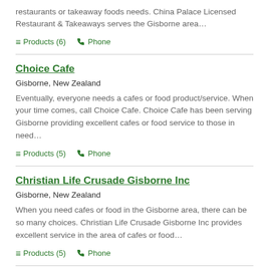restaurants or takeaway foods needs. China Palace Licensed Restaurant & Takeaways serves the Gisborne area…
Products (6)  Phone
Choice Cafe
Gisborne, New Zealand
Eventually, everyone needs a cafes or food product/service. When your time comes, call Choice Cafe. Choice Cafe has been serving Gisborne providing excellent cafes or food service to those in need…
Products (5)  Phone
Christian Life Crusade Gisborne Inc
Gisborne, New Zealand
When you need cafes or food in the Gisborne area, there can be so many choices. Christian Life Crusade Gisborne Inc provides excellent service in the area of cafes or food…
Products (5)  Phone